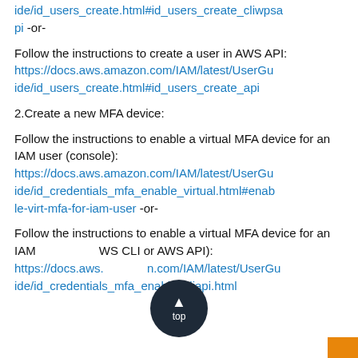ide/id_users_create.html#id_users_create_cliwpsapi -or-
Follow the instructions to create a user in AWS API: https://docs.aws.amazon.com/IAM/latest/UserGuide/id_users_create.html#id_users_create_api
2.Create a new MFA device:
Follow the instructions to enable a virtual MFA device for an IAM user (console): https://docs.aws.amazon.com/IAM/latest/UserGuide/id_credentials_mfa_enable_virtual.html#enable-virt-mfa-for-iam-user -or-
Follow the instructions to enable a virtual MFA device for an IAM (AWS CLI or AWS API): https://docs.aws.amazon.com/IAM/latest/UserGuide/id_credentials_mfa_enable_cliapi.html